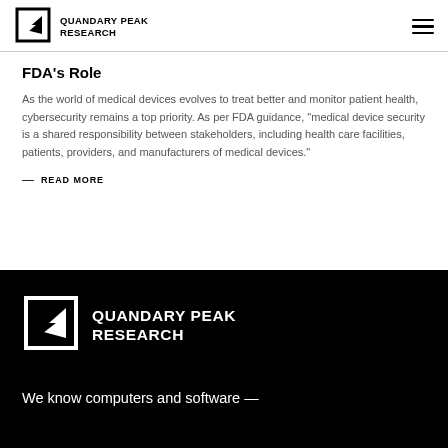QUANDARY PEAK RESEARCH
FDA's Role
As the world of medical devices evolves to treat better and monitor patient health, cybersecurity remains a top priority. As per FDA guidance, “medical device security is a shared responsibility between stakeholders, including health care facilities, patients, providers, and manufacturers of medical devices.”
— READ MORE
[Figure (logo): Quandary Peak Research logo in white on black background]
We know computers and software —